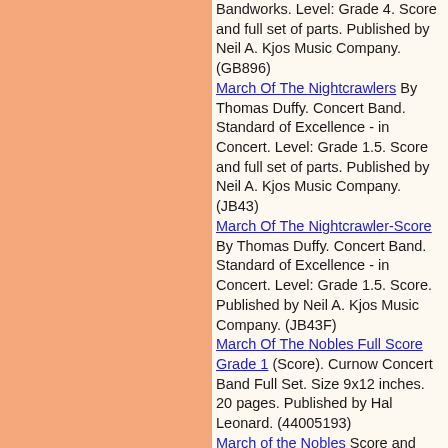Bandworks. Level: Grade 4. Score and full set of parts. Published by Neil A. Kjos Music Company. (GB896)
March Of The Nightcrawlers By Thomas Duffy. Concert Band. Standard of Excellence - in Concert. Level: Grade 1.5. Score and full set of parts. Published by Neil A. Kjos Music Company. (JB43)
March Of The Nightcrawler-Score By Thomas Duffy. Concert Band. Standard of Excellence - in Concert. Level: Grade 1.5. Score. Published by Neil A. Kjos Music Company. (JB43F)
March Of The Nobles Full Score Grade 1 (Score). Curnow Concert Band Full Set. Size 9x12 inches. 20 pages. Published by Hal Leonard. (44005193)
March of the Nobles Score and Parts Curnow Beginning Band Series. Curnow Concert Band Full Set. Size 9x12 inches. Published by Curnow Music. (44005192)
March of the Nobles By Thomas Root. Arranged by Thomas Root. Beginning Band. FJH Beginning Band. Score for this title: B1066S.